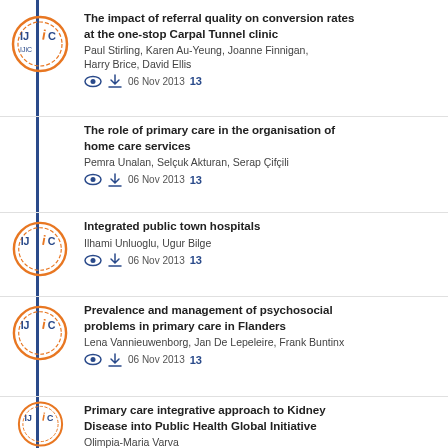The impact of referral quality on conversion rates at the one-stop Carpal Tunnel clinic
Paul Stirling, Karen Au-Yeung, Joanne Finnigan, Harry Brice, David Ellis
06 Nov 2013  13
The role of primary care in the organisation of home care services
Pemra Unalan, Selçuk Akturan, Serap Çifçili
06 Nov 2013  13
Integrated public town hospitals
Ilhami Unluoglu, Ugur Bilge
06 Nov 2013  13
Prevalence and management of psychosocial problems in primary care in Flanders
Lena Vannieuwenborg, Jan De Lepeleire, Frank Buntinx
06 Nov 2013  13
Primary care integrative approach to Kidney Disease into Public Health Global Initiative
Olipia-Maria Varva